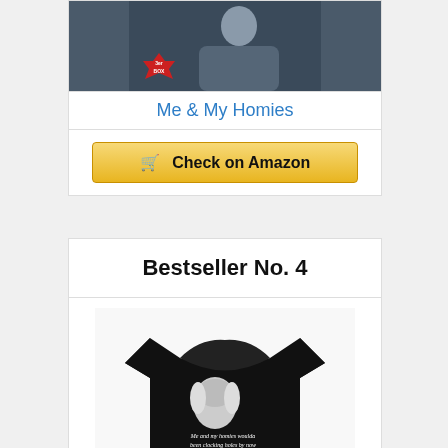[Figure (photo): Product image showing a person wearing a hoodie, with a red '3er BOX' badge sticker overlay in the bottom left of the image]
Me & My Homies
Check on Amazon
Bestseller No. 4
[Figure (photo): Black t-shirt featuring a George Washington portrait with text that reads 'Me and my homies woulda been clocking holes by now - George Washington']